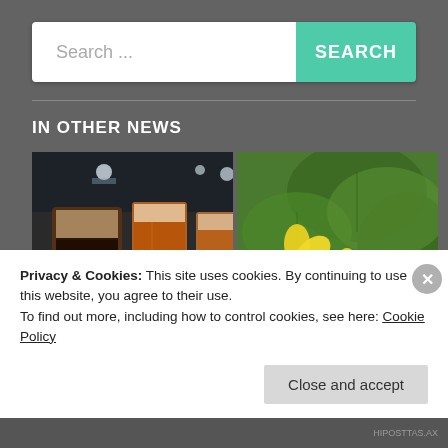[Figure (screenshot): Search bar with text input field showing placeholder 'Search ...' and a green 'SEARCH' button on the right]
IN OTHER NEWS
[Figure (photo): Two-panel image: left panel shows beer/dessert drinks on a bar counter in a dim interior; right panel shows yellow flowers and green leaves outdoors]
Privacy & Cookies: This site uses cookies. By continuing to use this website, you agree to their use.
To find out more, including how to control cookies, see here: Cookie Policy
Close and accept
HIPOSTTAS.AX